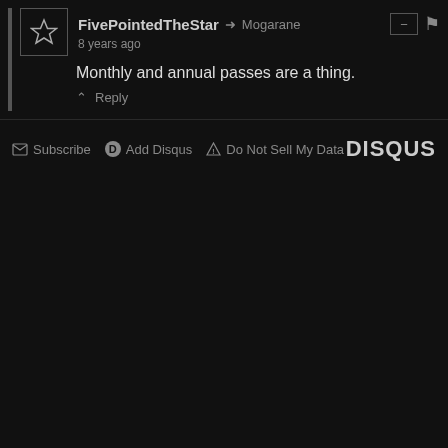FivePointedTheStar → Mogarane
8 years ago
Monthly and annual passes are a thing.
Reply
Subscribe  Add Disqus  Do Not Sell My Data  DISQUS